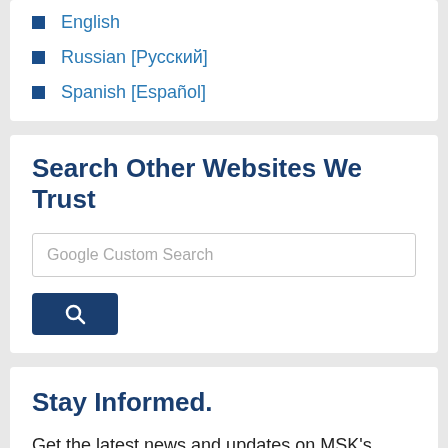English
Russian [Русский]
Spanish [Español]
Search Other Websites We Trust
Google Custom Search
Stay Informed.
Get the latest news and updates on MSK's cancer care and research breakthroughs sent straight to your inbox